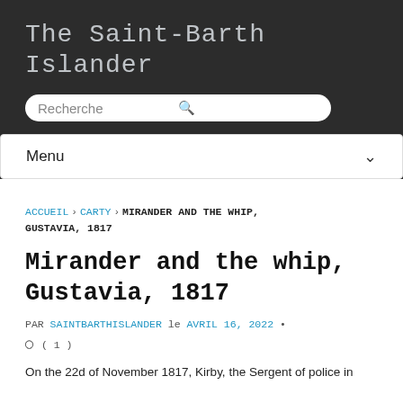The Saint-Barth Islander
Recherche [search bar]
Menu
ACCUEIL › CARTY › MIRANDER AND THE WHIP, GUSTAVIA, 1817
Mirander and the whip, Gustavia, 1817
PAR SAINTBARTHISLANDER le AVRIL 16, 2022 • ( 1 )
On the 22d of November 1817, Kirby, the Sergent of police in